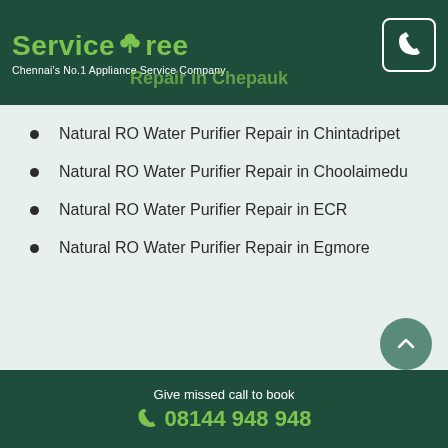ServiceTree — Chennai's No.1 Appliance Service Company
Repair in Chepauk
Natural RO Water Purifier Repair in Chintadripet
Natural RO Water Purifier Repair in Choolaimedu
Natural RO Water Purifier Repair in ECR
Natural RO Water Purifier Repair in Egmore
Pay online
Give missed call to book 08144 948 948